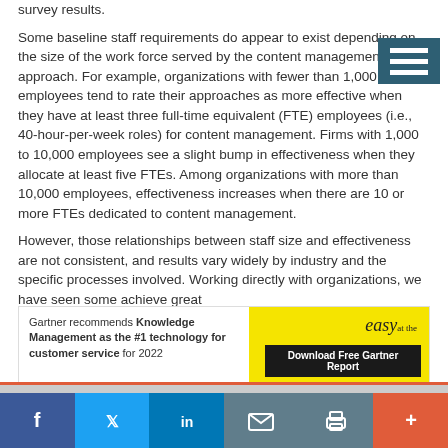survey results.
Some baseline staff requirements do appear to exist depending on the size of the work force served by the content management approach. For example, organizations with fewer than 1,000 employees tend to rate their approaches as more effective when they have at least three full-time equivalent (FTE) employees (i.e., 40-hour-per-week roles) for content management. Firms with 1,000 to 10,000 employees see a slight bump in effectiveness when they allocate at least five FTEs. Among organizations with more than 10,000 employees, effectiveness increases when there are 10 or more FTEs dedicated to content management.
However, those relationships between staff size and effectiveness are not consistent, and results vary widely by industry and the specific processes involved. Working directly with organizations, we have seen some achieve great
[Figure (other): Advertisement banner: Gartner recommends Knowledge Management as the #1 technology for customer service for 2022. Download Free Gartner Report.]
[Figure (other): Social sharing bar with Facebook, Twitter, LinkedIn, email, print, and more (+) buttons.]